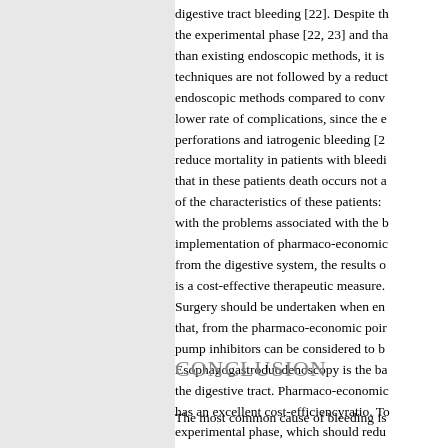digestive tract bleeding [22]. Despite th the experimental phase [22, 23] and tha than existing endoscopic methods, it is techniques are not followed by a reduct endoscopic methods compared to conv lower rate of complications, since the e perforations and iatrogenic bleeding [2 reduce mortality in patients with bleedi that in these patients death occurs not a of the characteristics of these patients: with the problems associated with the b implementation of pharmaco-economic from the digestive system, the results o is a cost-effective therapeutic measure. Surgery should be undertaken when en that, from the pharmaco-economic poi pump inhibitors can be considered to b Esophagogastroduodenoscopy is the ba the digestive tract. Pharmaco-economic has an excellent cost-efficiencyratio. To experimental phase, which should redu not stop after endoscopic measures, im
CONCLUSION
The most common cause of bleeding is